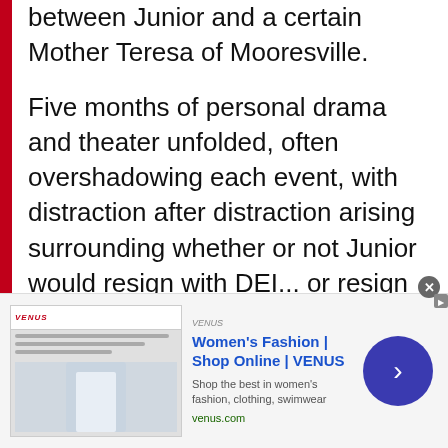between Junior and a certain Mother Teresa of Mooresville.
Five months of personal drama and theater unfolded, often overshadowing each event, with distraction after distraction arising surrounding whether or not Junior would resign with DEI... or resign from DEI. In the end, he chose the latter – causing an earthquake not easily absorbed amongst the NASCAR community, one that came packaged with an aftershock once Junior announced his signing with Hendrick Motorsports just one month later.
[Figure (screenshot): Advertisement banner for Women's Fashion at VENUS (venus.com) showing clothing image and shop online call to action with a circular arrow button.]